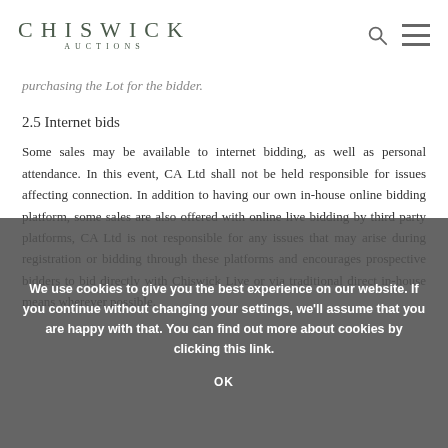CHISWICK AUCTIONS
purchasing the Lot for the bidder.
2.5 Internet bids
Some sales may be available to internet bidding, as well as personal attendance. In this event, CA Ltd shall not be held responsible for issues affecting connection. In addition to having our own in-house online bidding platform, some sales are also offered with online live bidding by third party platforms, CA Ltd is not responsible for any issues that may arise during registration or bidding through these platforms and encourages prospective bidders to bid directly with Chiswick Live or via traditional direct in-house means wherever possible.
We use cookies to give you the best experience on our website. If you continue without changing your settings, we'll assume that you are happy with that. You can find out more about cookies by clicking this link.
OK